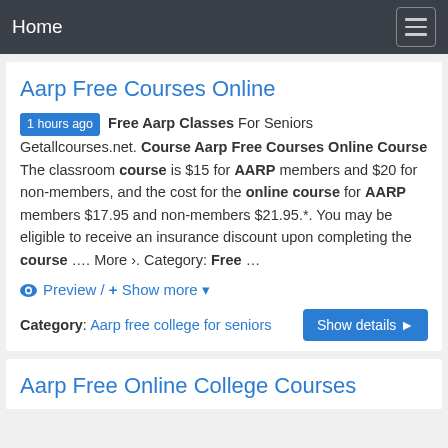Home
Aarp Free Courses Online
1 hours ago Free Aarp Classes For Seniors Getallcourses.net. Course Aarp Free Courses Online Course The classroom course is $15 for AARP members and $20 for non-members, and the cost for the online course for AARP members $17.95 and non-members $21.95.*. You may be eligible to receive an insurance discount upon completing the course …. More ›. Category: Free …
Preview / + Show more ▾
Category: Aarp free college for seniors   Show details ▶
Aarp Free Online College Courses